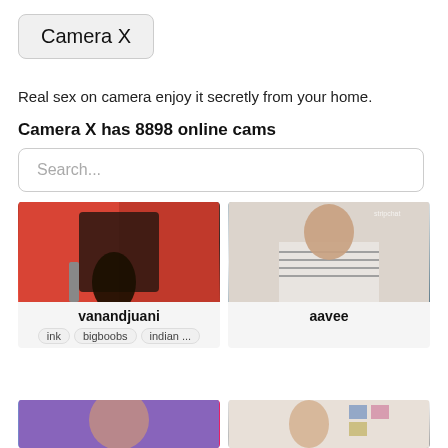Camera X
Real sex on camera enjoy it secretly from your home.
Camera X has 8898 online cams
Search...
[Figure (photo): Webcam thumbnail showing a black office chair against a red couch background - username: vanandjuani, tags: ink, bigboobs, indian ...]
[Figure (photo): Webcam thumbnail showing a woman with glasses wearing a striped shirt - username: aavee]
[Figure (photo): Webcam thumbnail showing a woman with dark hair in a room with purple lighting]
[Figure (photo): Webcam thumbnail showing a woman in a beige/tan top in a room with photos on the wall]